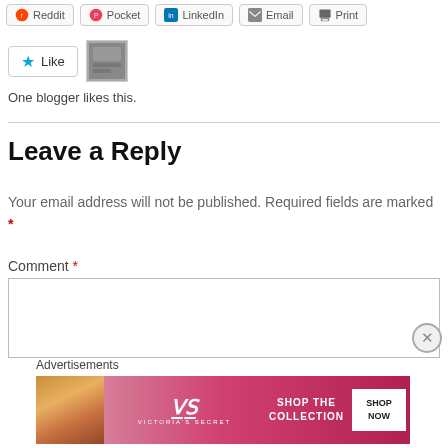[Figure (screenshot): Share buttons row: Reddit, Pocket, LinkedIn, Email, Print]
[Figure (screenshot): Like button with star icon and a blogger avatar thumbnail]
One blogger likes this.
Leave a Reply
Your email address will not be published. Required fields are marked *
Comment *
[Figure (screenshot): Comment textarea input box]
Advertisements
[Figure (photo): Victoria's Secret advertisement banner with model photo, VS logo, SHOP THE COLLECTION text, and SHOP NOW button]